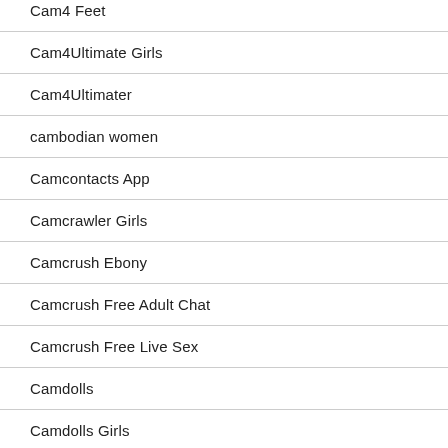Cam4 Feet
Cam4Ultimate Girls
Cam4Ultimater
cambodian women
Camcontacts App
Camcrawler Girls
Camcrush Ebony
Camcrush Free Adult Chat
Camcrush Free Live Sex
Camdolls
Camdolls Girls
Camdolls Live Sex Cam